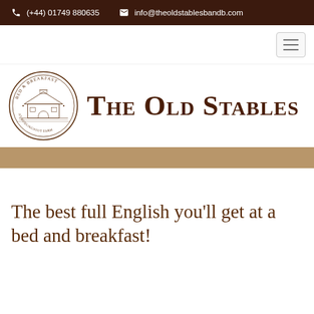(+44) 01749 880635  info@theoldstablesbandb.com
[Figure (logo): The Old Stables Bed and Breakfast circular logo with barn illustration and brand name text]
The best full English you'll get at a bed and breakfast!